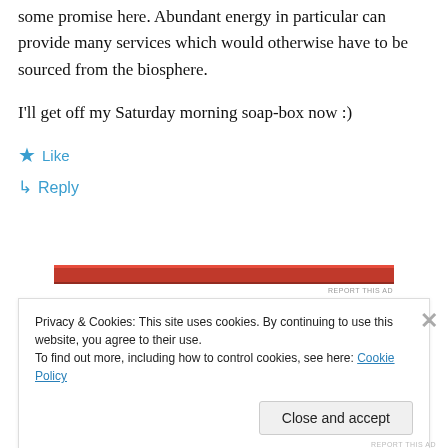some promise here. Abundant energy in particular can provide many services which would otherwise have to be sourced from the biosphere.
I'll get off my Saturday morning soap-box now :)
★ Like
↳ Reply
[Figure (other): Red advertisement banner bar]
REPORT THIS AD
Privacy & Cookies: This site uses cookies. By continuing to use this website, you agree to their use.
To find out more, including how to control cookies, see here: Cookie Policy
Close and accept